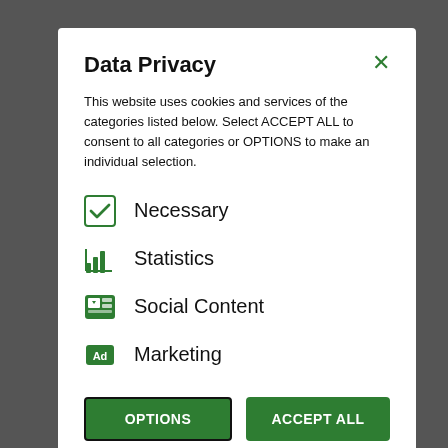Data Privacy
This website uses cookies and services of the categories listed below. Select ACCEPT ALL to consent to all categories or OPTIONS to make an individual selection.
Necessary
Statistics
Social Content
Marketing